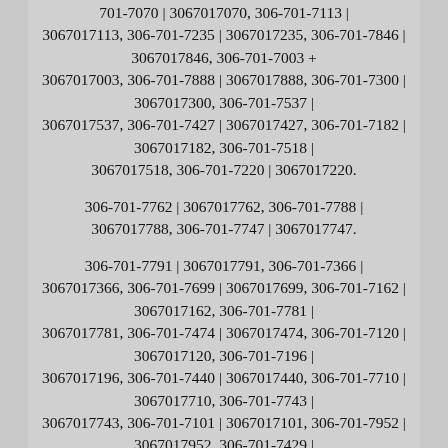701-7070 | 3067017070, 306-701-7113 | 3067017113, 306-701-7235 | 3067017235, 306-701-7846 | 3067017846, 306-701-7003 + 3067017003, 306-701-7888 | 3067017888, 306-701-7300 | 3067017300, 306-701-7537 | 3067017537, 306-701-7427 | 3067017427, 306-701-7182 | 3067017182, 306-701-7518 | 3067017518, 306-701-7220 | 3067017220.
306-701-7762 | 3067017762, 306-701-7788 | 3067017788, 306-701-7747 | 3067017747.
306-701-7791 | 3067017791, 306-701-7366 | 3067017366, 306-701-7699 | 3067017699, 306-701-7162 | 3067017162, 306-701-7781 | 3067017781, 306-701-7474 | 3067017474, 306-701-7120 | 3067017120, 306-701-7196 | 3067017196, 306-701-7440 | 3067017440, 306-701-7710 | 3067017710, 306-701-7743 | 3067017743, 306-701-7101 | 3067017101, 306-701-7952 | 3067017952, 306-701-7429 | 3067017429, 306-701-7534 | 3067017534, 306-701-7367 | 3067017367, 306-701-7840 | 3067017840, 306-701-7878 | 3067017878.
306-701-7740 | 3067017740, 306-701-7048 /